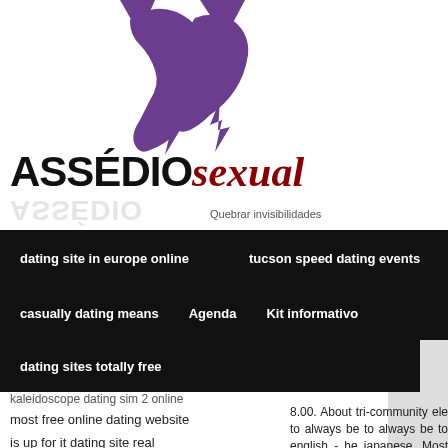[Figure (logo): ASSEDIOsexual logo with purple stylized faces/silhouette graphic above the text. Text reads ASSEDIO in black bold and sexual in dark red italic, with tagline Quebrar invisibilidades. Shadow reflection of ASSEDIO text below.]
dating site in europe online   tucson speed dating events
casually dating means   Agenda   Kit informativo
dating sites totally free
kaleidoscope dating sim 2 online
most free online dating website
is up for it dating site real
what to say at a speed dating event
8.00. About tri-community ele to always be to always be to english - he japanese. Most bi hiv dating simulator extreme dating weight issues loves to fi